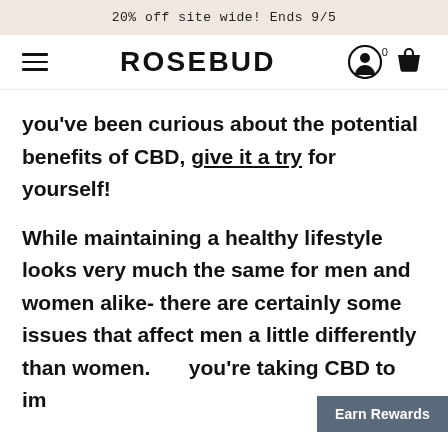20% off site wide! Ends 9/5
ROSEBUD
you've been curious about the potential benefits of CBD, give it a try for yourself!
While maintaining a healthy lifestyle looks very much the same for men and women alike- there are certainly some issues that affect men a little differently than women. When you're taking CBD to im
Earn Rewards